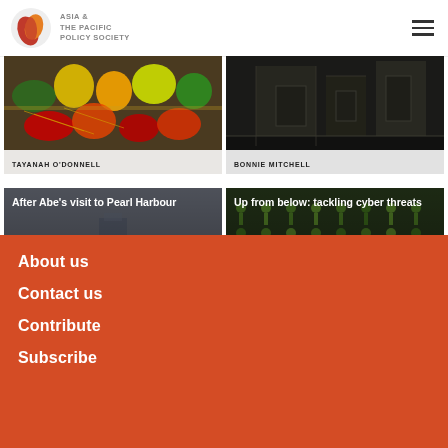Asia & The Pacific Policy Society
[Figure (photo): Colourful market produce — fruits and vegetables]
TAYANAH O'DONNELL
[Figure (photo): Dark industrial or urban scene]
BONNIE MITCHELL
[Figure (photo): After Abe's visit to Pearl Harbour — crowd scene]
TED GOVER
[Figure (photo): Up from below: tackling cyber threats — keys/lights image]
SCOTT SHACKELFORD
About us
Contact us
Contribute
Subscribe